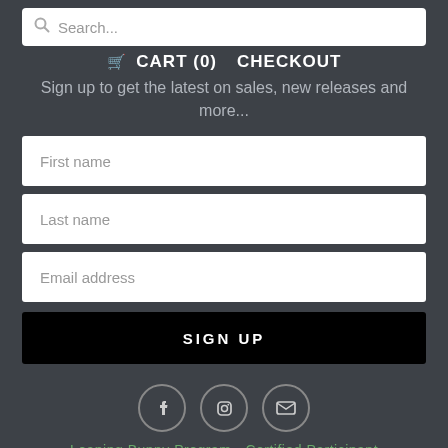Search...
🛒 CART (0)   CHECKOUT
Sign up to get the latest on sales, new releases and more...
First name
Last name
Email address
SIGN UP
[Figure (illustration): Social media icons: Facebook, Instagram, Email in circle outlines]
Leaping Bunny Program - Certified Participant